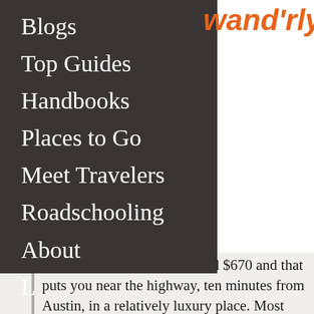[Figure (logo): Wandrly logo in orange italic script font]
Blogs
Top Guides
Handbooks
Places to Go
Meet Travelers
Roadschooling
About
L…
friends are staying, it's around $670 and that puts you near the highway, ten minutes from Austin, in a relatively luxury place. Most spots will ask you to pay your own electric. Water is usually